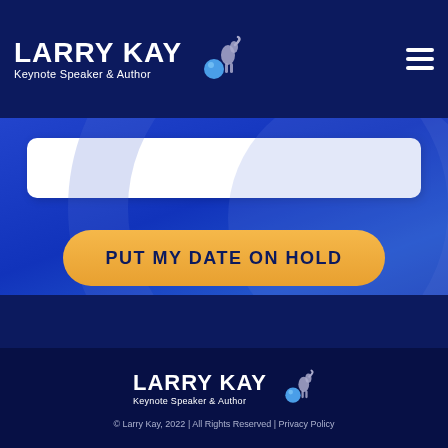Larry Kay — Keynote Speaker & Author
[Figure (screenshot): White text input box (form field) on blue background]
PUT MY DATE ON HOLD
[Figure (logo): Larry Kay Keynote Speaker & Author logo in footer]
© Larry Kay, 2022 | All Rights Reserved | Privacy Policy